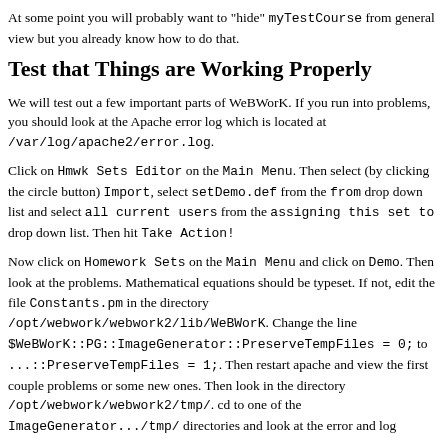At some point you will probably want to "hide" myTestCourse from general view but you already know how to do that.
Test that Things are Working Properly
We will test out a few important parts of WeBWorK. If you run into problems, you should look at the Apache error log which is located at /var/log/apache2/error.log.
Click on Hmwk Sets Editor on the Main Menu. Then select (by clicking the circle button) Import, select setDemo.def from the from drop down list and select all current users from the assigning this set to drop down list. Then hit Take Action!
Now click on Homework Sets on the Main Menu and click on Demo. Then look at the problems. Mathematical equations should be typeset. If not, edit the file Constants.pm in the directory /opt/webwork/webwork2/lib/WeBWorK. Change the line $WeBWorK::PG::ImageGenerator::PreserveTempFiles = 0; to ...::PreserveTempFiles = 1;. Then restart apache and view the first couple problems or some new ones. Then look in the directory /opt/webwork/webwork2/tmp/. cd to one of the ImageGenerator.../tmp/ directories and look at the error and log